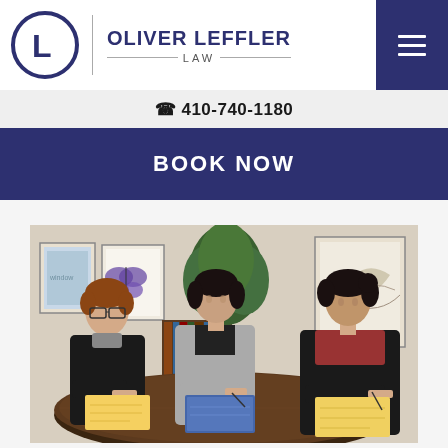[Figure (logo): Oliver Leffler Law logo — circular O with L inside, dark navy, next to firm name 'OLIVER LEFFLER LAW' with decorative lines]
410-740-1180
BOOK NOW
[Figure (photo): Three women sitting at a conference table in a law office, reviewing and writing on documents. Plants and framed artwork visible in background.]